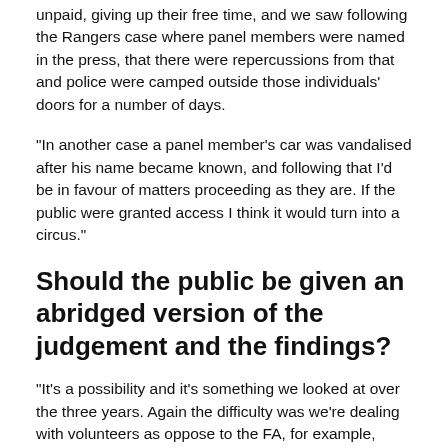unpaid, giving up their free time, and we saw following the Rangers case where panel members were named in the press, that there were repercussions from that and police were camped outside those individuals' doors for a number of days.
"In another case a panel member's car was vandalised after his name became known, and following that I'd be in favour of matters proceeding as they are. If the public were granted access I think it would turn into a circus."
Should the public be given an abridged version of the judgement and the findings?
"It's a possibility and it's something we looked at over the three years. Again the difficulty was we're dealing with volunteers as oppose to the FA, for example, where in Wembley the panel members are paid and there's an expectation they will produce written reasons for every